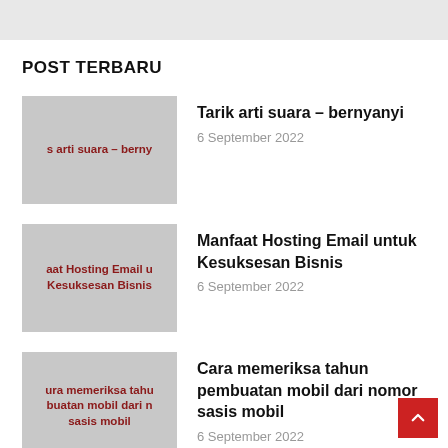POST TERBARU
Tarik arti suara – bernyanyi | 6 September 2022
Manfaat Hosting Email untuk Kesuksesan Bisnis | 6 September 2022
Cara memeriksa tahun pembuatan mobil dari nomor sasis mobil | 6 September 2022
Desain kamar mandi ukuran 1 5 x 2 meter | 6 September 2022